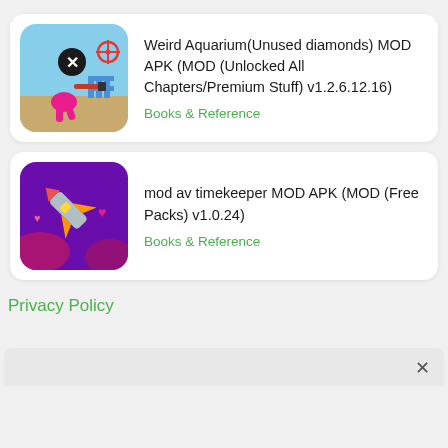[Figure (illustration): App icon for Weird Aquarium – pink stickman shooter character with crosshair on blue/tan background]
Weird Aquarium(Unused diamonds) MOD APK (MOD (Unlocked All Chapters/Premium Stuff) v1.2.6.12.16)
Books & Reference
[Figure (illustration): App icon for mod av timekeeper – rocket/dart with sparkles on purple background]
mod av timekeeper MOD APK (MOD (Free Packs) v1.0.24)
Books & Reference
Privacy Policy